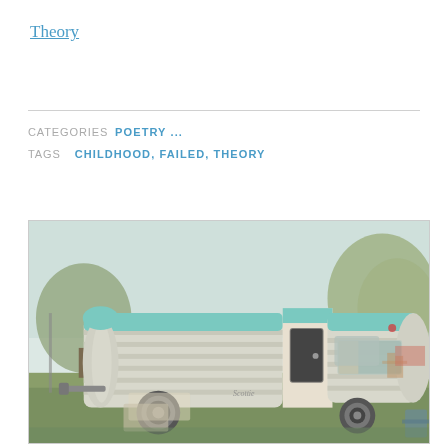Theory
CATEGORIES  POETRY ...
TAGS  CHILDHOOD, FAILED, THEORY
[Figure (photo): Vintage retro travel trailer / camper in teal and white, parked on grass outdoors with trees in background. Faded, nostalgic color palette.]